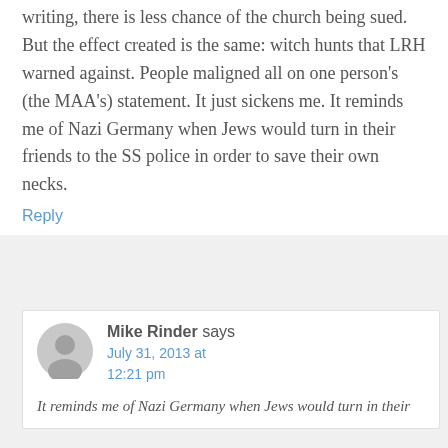writing, there is less chance of the church being sued. But the effect created is the same: witch hunts that LRH warned against. People maligned all on one person's (the MAA's) statement. It just sickens me. It reminds me of Nazi Germany when Jews would turn in their friends to the SS police in order to save their own necks.
Reply
Mike Rinder says
July 31, 2013 at 12:21 pm
It reminds me of Nazi Germany when Jews would turn in their